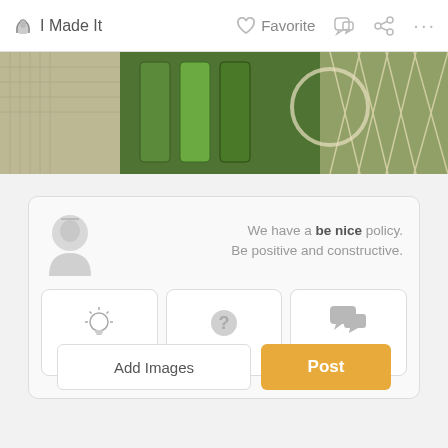I Made It   Favorite   ... (comment icon) (share icon) ...
[Figure (photo): Partial view of macrame/knitted items and green glass jars with netting, outdoor craft project photo]
We have a be nice policy. Be positive and constructive.
Tip
Question
Comment
Add Images
Post